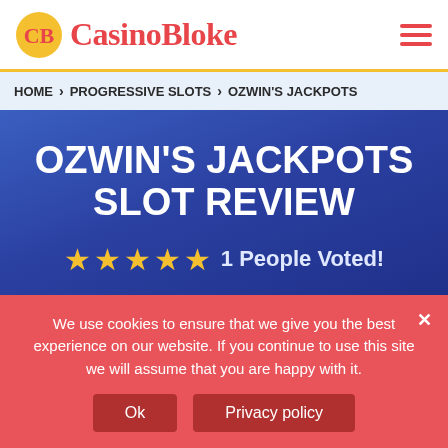CasinoBloke
HOME > PROGRESSIVE SLOTS > OZWIN'S JACKPOTS
OZWIN'S JACKPOTS SLOT REVIEW
★★★★★ 1 People Voted!
Ozwin's Jackpots Slot is a Yggdrasil progressive slot launched in 2018. The
We use cookies to ensure that we give you the best experience on our website. If you continue to use this site we will assume that you are happy with it.